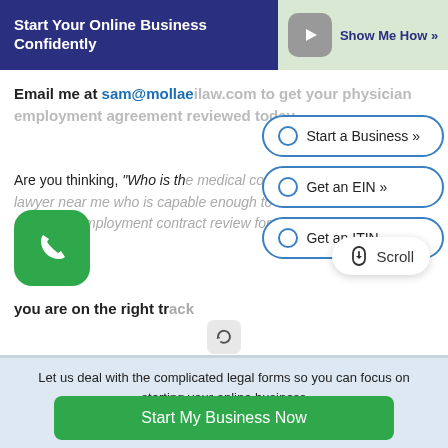Start Your Online Business Confidently  Show Me How »
Email me at sam@mollaelaw.com to get your physician employment agreement reviewed today.
Are you thinking, "Who is the medical contract lawyer near me who is capable enough to do a physician employment contract review for me?"
you are on the right track
Let us deal with the complicated legal forms so you can focus on starting your online business
Start My Business Now